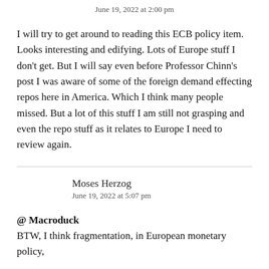June 19, 2022 at 2:00 pm
I will try to get around to reading this ECB policy item. Looks interesting and edifying. Lots of Europe stuff I don't get. But I will say even before Professor Chinn's post I was aware of some of the foreign demand effecting repos here in America. Which I think many people missed. But a lot of this stuff I am still not grasping and even the repo stuff as it relates to Europe I need to review again.
Moses Herzog
June 19, 2022 at 5:07 pm
@ Macroduck
BTW, I think fragmentation, in European monetary policy,